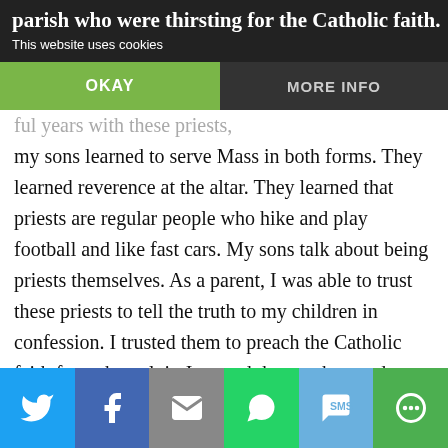This website uses cookies
parish who were thirsting for the Catholic faith.
ful years with these priests, my sons learned to serve Mass in both forms. They learned reverence at the altar. They learned that priests are regular people who hike and play football and like fast cars. My sons talk about being priests themselves. As a parent, I was able to trust these priests to tell the truth to my children in confession. I trusted them to preach the Catholic faith from the pulpit. I trusted them to be good examples to my children. These priests exceeded all of my expectations. They are, without a doubt, worthy of my trust, and in these times of crisis, that is no small feat.
[Figure (infographic): Social sharing bar with Twitter, Facebook, Email, WhatsApp, SMS, and More icons]